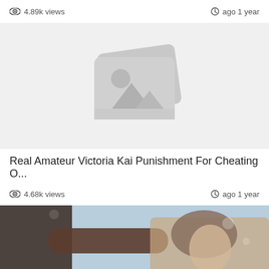4.89k views  ago 1 year
[Figure (photo): Placeholder image thumbnail showing stacked image icons with mountain/landscape and sun symbols in gray on light gray background]
Real Amateur Victoria Kai Punishment For Cheating O...
4.68k views  ago 1 year
[Figure (photo): Partial photo showing two people, one with dark skin and muscular arm, and a woman with brown hair, against a light blue background]